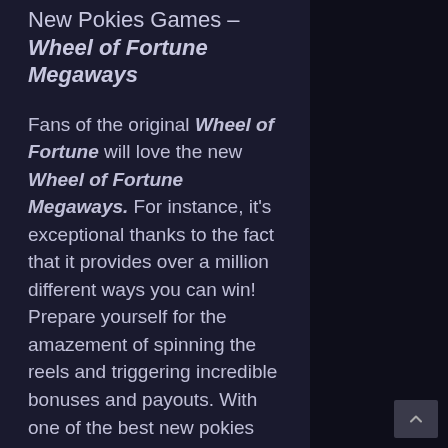New Pokies Games – Wheel of Fortune Megaways
Fans of the original Wheel of Fortune will love the new Wheel of Fortune Megaways. For instance, it's exceptional thanks to the fact that it provides over a million different ways you can win! Prepare yourself for the amazement of spinning the reels and triggering incredible bonuses and payouts. With one of the best new pokies games of the year